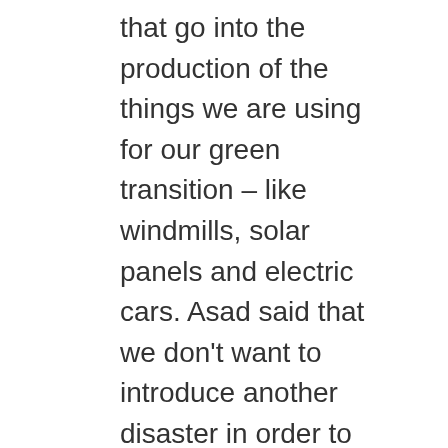that go into the production of the things we are using for our green transition – like windmills, solar panels and electric cars. Asad said that we don't want to introduce another disaster in order to sort out the one we are trying to fix. In other words, if we grab land in poor countries in order to carry out exploitative mining etc. just so we can continue with our unsustainable lifestyles, we won't be better off than we are now. We need to think about things in the round. For example we need to get rid of planned obsolescence, ensure products can be recycled, look at the circular economy and how we could reorganise society so we live